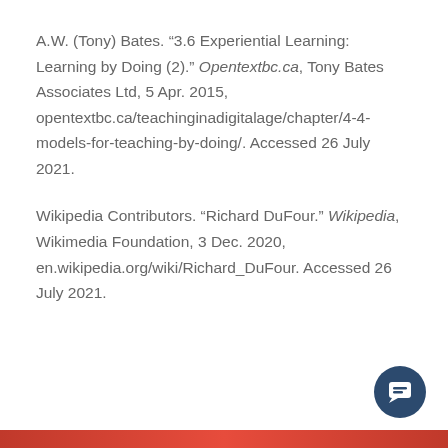A.W. (Tony) Bates. “3.6 Experiential Learning: Learning by Doing (2).” Opentextbc.ca, Tony Bates Associates Ltd, 5 Apr. 2015, opentextbc.ca/teachinginadigitalage/chapter/4-4-models-for-teaching-by-doing/. Accessed 26 July 2021.
Wikipedia Contributors. “Richard DuFour.” Wikipedia, Wikimedia Foundation, 3 Dec. 2020, en.wikipedia.org/wiki/Richard_DuFour. Accessed 26 July 2021.